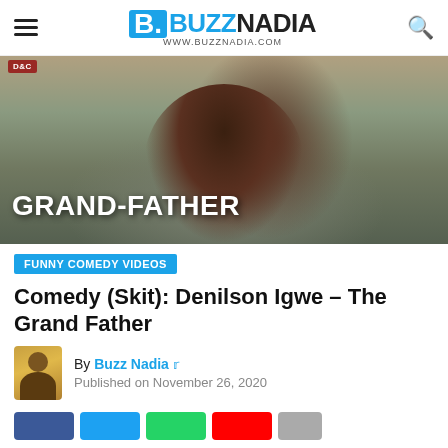BUZZNADIA www.buzznadia.com
[Figure (photo): Man dressed as an elderly grandfather in a dark jacket and head wrap, leaning against a weathered concrete wall. Text overlay reads GRAND-FATHER in white block letters.]
FUNNY COMEDY VIDEOS
Comedy (Skit): Denilson Igwe – The Grand Father
By Buzz Nadia
Published on November 26, 2020